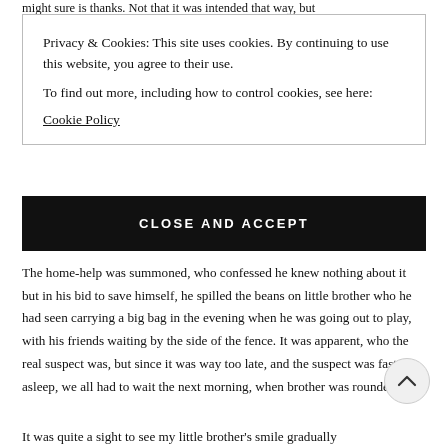might sure is thanks. Not that it was intended that way, but
Privacy & Cookies: This site uses cookies. By continuing to use this website, you agree to their use.
To find out more, including how to control cookies, see here:
Cookie Policy
CLOSE AND ACCEPT
The home-help was summoned, who confessed he knew nothing about it but in his bid to save himself, he spilled the beans on little brother who he had seen carrying a big bag in the evening when he was going out to play, with his friends waiting by the side of the fence. It was apparent, who the real suspect was, but since it was way too late, and the suspect was fast asleep, we all had to wait the next morning, when brother was rounded up.
It was quite a sight to see my little brother's smile gradually